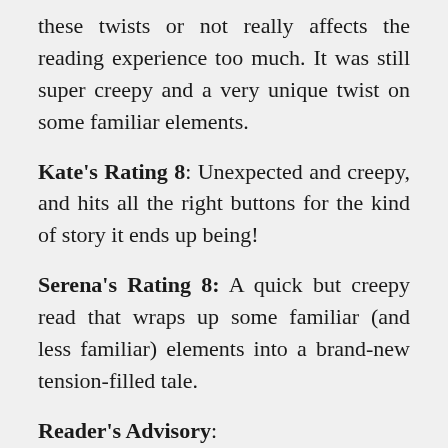these twists or not really affects the reading experience too much. It was still super creepy and a very unique twist on some familiar elements.
Kate's Rating 8: Unexpected and creepy, and hits all the right buttons for the kind of story it ends up being!
Serena's Rating 8: A quick but creepy read that wraps up some familiar (and less familiar) elements into a brand-new tension-filled tale.
Reader's Advisory:
“Comfort Me With Apples” is included on the